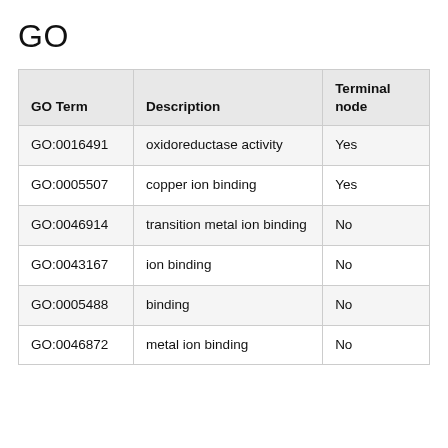GO
| GO Term | Description | Terminal node |
| --- | --- | --- |
| GO:0016491 | oxidoreductase activity | Yes |
| GO:0005507 | copper ion binding | Yes |
| GO:0046914 | transition metal ion binding | No |
| GO:0043167 | ion binding | No |
| GO:0005488 | binding | No |
| GO:0046872 | metal ion binding | No |